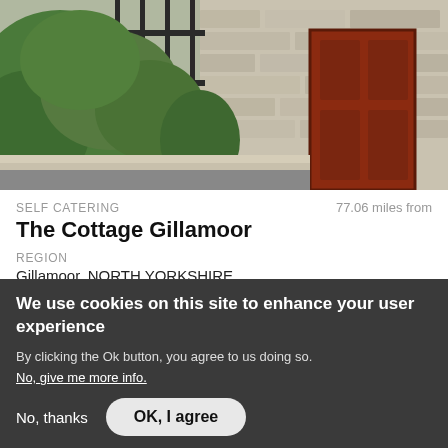[Figure (photo): Exterior photo of a stone cottage with a red wooden door, wrought iron gate, and green plants/foliage in front of a stone wall.]
SELF CATERING
77.06 miles from
The Cottage Gillamoor
REGION
Gillamoor, NORTH YORKSHIRE
VERIFIED
COVID CONFIDENT
We use cookies on this site to enhance your user experience
By clicking the Ok button, you agree to us doing so.
No, give me more info.
No, thanks
OK, I agree